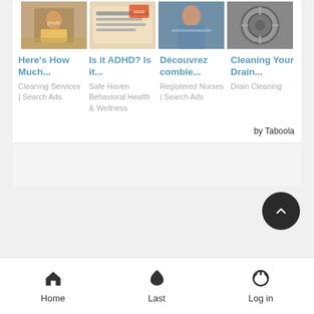[Figure (screenshot): Four advertisement thumbnail images in a row: cleaning worker, ADHD paper, nurse, drain]
Here's How Much...
Cleaning Services | Search Ads
Is it ADHD? Is it...
Safe Haven Behavioral Health & Wellness
Découvrez combie...
Registered Nurses | Search Ads
Cleaning Your Drain...
Drain Cleaning
by Taboola
Home   Last   Log in